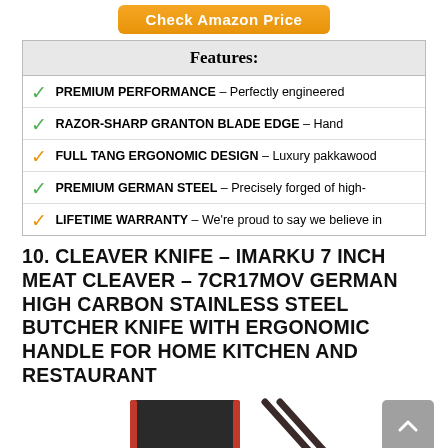[Figure (other): Orange 'Check Amazon Price' button at top center]
| Features: |
| --- |
| ✓ PREMIUM PERFORMANCE – Perfectly engineered |
| ✓ RAZOR-SHARP GRANTON BLADE EDGE – Hand |
| ✓ FULL TANG ERGONOMIC DESIGN – Luxury pakkawood |
| ✓ PREMIUM GERMAN STEEL – Precisely forged of high- |
| ✓ LIFETIME WARRANTY – We're proud to say we believe in |
10. CLEAVER KNIFE – IMARKU 7 INCH MEAT CLEAVER – 7CR17MOV GERMAN HIGH CARBON STAINLESS STEEL BUTCHER KNIFE WITH ERGONOMIC HANDLE FOR HOME KITCHEN AND RESTAURANT
[Figure (photo): Product image of cleaver knife and sharpener at bottom, partially visible]